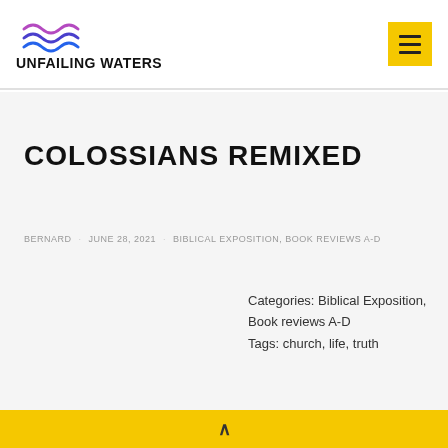UNFAILING WATERS
COLOSSIANS REMIXED
BERNARD · JUNE 28, 2021 · BIBLICAL EXPOSITION, BOOK REVIEWS A-D
Categories: Biblical Exposition, Book reviews A-D
Tags: church, life, truth
^